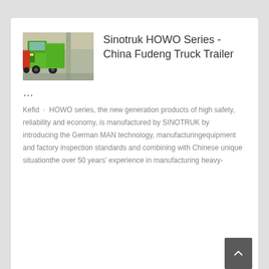[Figure (photo): Photo of a bright green Sinotruk HOWO dump truck parked indoors, another red truck visible in background]
Sinotruk HOWO Series - China Fudeng Truck Trailer …
Kefid · HOWO series, the new generation products of high safety, reliability and economy, is manufactured by SINOTRUK by introducing the German MAN technology, manufacturingequipment and factory inspection standards and combining with Chinese unique situationthe over 50 years' experience in manufacturing heavy-